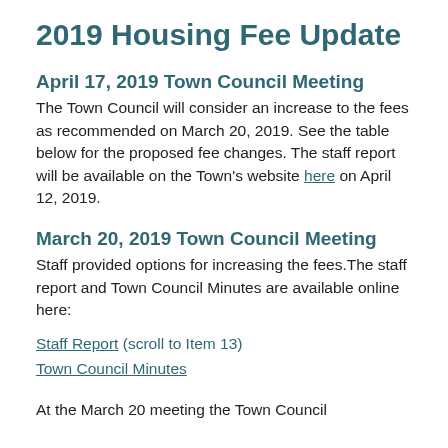2019 Housing Fee Update
April 17, 2019 Town Council Meeting
The Town Council will consider an increase to the fees as recommended on March 20, 2019. See the table below for the proposed fee changes. The staff report will be available on the Town's website here on April 12, 2019.
March 20, 2019 Town Council Meeting
Staff provided options for increasing the fees.The staff report and Town Council Minutes are available online here:
Staff Report (scroll to Item 13)
Town Council Minutes
At the March 20 meeting the Town Council